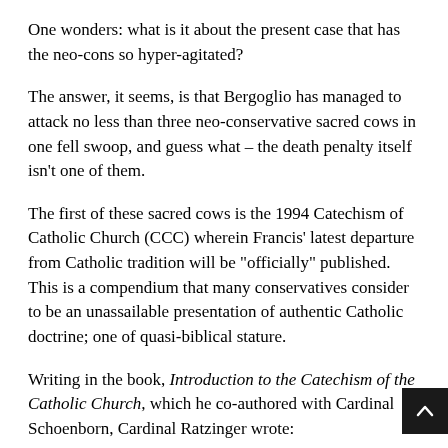One wonders: what is it about the present case that has the neo-cons so hyper-agitated?
The answer, it seems, is that Bergoglio has managed to attack no less than three neo-conservative sacred cows in one fell swoop, and guess what – the death penalty itself isn't one of them.
The first of these sacred cows is the 1994 Catechism of Catholic Church (CCC) wherein Francis' latest departure from Catholic tradition will be "officially" published. This is a compendium that many conservatives consider to be an unassailable presentation of authentic Catholic doctrine; one of quasi-biblical stature.
Writing in the book, Introduction to the Catechism of the Catholic Church, which he co-authored with Cardinal Schoenborn, Cardinal Ratzinger wrote:
The individual doctrine which the Catechism presents